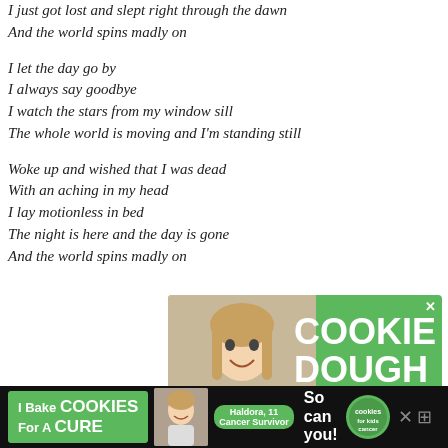I just got lost and slept right through the dawn
And the world spins madly on
I let the day go by
I always say goodbye
I watch the stars from my window sill
The whole world is moving and I'm standing still
Woke up and wished that I was dead
With an aching in my head
I lay motionless in bed
The night is here and the day is gone
And the world spins madly on
[Figure (photo): Advertisement banner with a smiling girl and green background saying COOKIE DOUGH, Childhood cancer]
[Figure (photo): Bottom advertisement banner on black background: I Bake COOKIES For A CURE, Haldora 11 Cancer Survivor, So can you!, cookies for kids cancer logo, X close button]